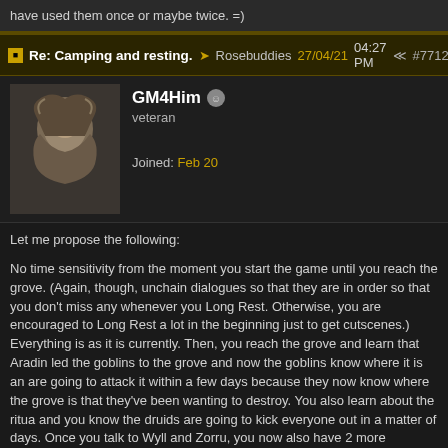have used them once or maybe twice. =)
Re: Camping and resting. → Rosebuddies 27/04/21 04:27 PM ≪ #7712
GM4Him veteran — Joined: Feb 20
Let me propose the following:
No time sensitivity from the moment you start the game until you reach the grove. (Again, though, unchain dialogues so that they are in order so that you don't miss any whenever you Long Rest. Otherwise, you are encouraged to Long Rest a lot in the beginning just to get cutscenes.) Everything is as it is currently. Then, you reach the grove and learn that Aradin led the goblins to the grove and now the goblins know where it is and are going to attack it within a few days because they now know where the grove is that they've been wanting to destroy. You also learn about the ritual and you know the druids are going to kick everyone out in a matter of days. Once you talk to Wyll and Zorru, you now also have 2 more sensitive events. Lae'zel will want to hurry to the Gith on Risen Road and Wyll will want to hurry to kill the gobbo leaders.
So you have the following time sensitive events:
1. Goblins will attack in 14 days (14 long rests or 2 weeks). You have 14